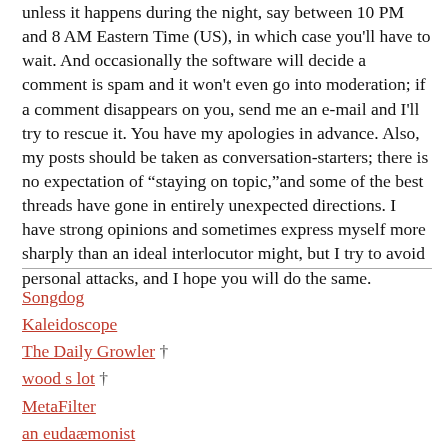unless it happens during the night, say between 10 PM and 8 AM Eastern Time (US), in which case you'll have to wait. And occasionally the software will decide a comment is spam and it won't even go into moderation; if a comment disappears on you, send me an e-mail and I'll try to rescue it. You have my apologies in advance. Also, my posts should be taken as conversation-starters; there is no expectation of “staying on topic,”and some of the best threads have gone in entirely unexpected directions. I have strong opinions and sometimes express myself more sharply than an ideal interlocutor might, but I try to avoid personal attacks, and I hope you will do the same.
Songdog
Kaleidoscope
The Daily Growler †
wood s lot †
MetaFilter
an eudaæmonist
Avva (Russian)